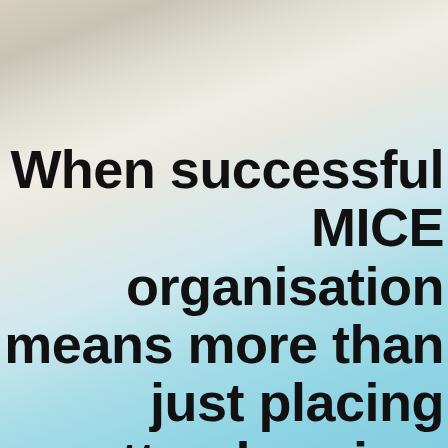When successful MICE organisation means more than just placing attendees in a